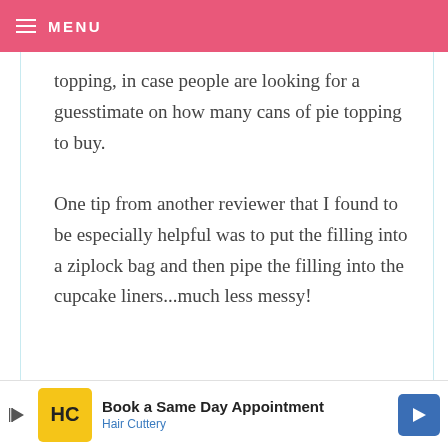MENU
topping, in case people are looking for a guesstimate on how many cans of pie topping to buy.

One tip from another reviewer that I found to be especially helpful was to put the filling into a ziplock bag and then pipe the filling into the cupcake liners...much less messy!
WERONIKA — JANUARY 5, 2012 @ 4:30 PM
Book a Same Day Appointment
Hair Cuttery